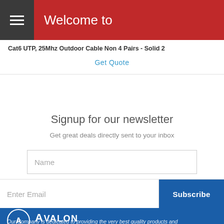Welcome to
Cat6 UTP, 25Mhz Outdoor Cable Non 4 Pairs - Solid 2
Get Quote
Signup for our newsletter
Get great deals directly sent to your inbox
Name
Enter Email
Subscribe
[Figure (logo): Avalon Network Products logo - circular emblem with letter A and company name]
Our Company is dedicated to providing the very best quality products and